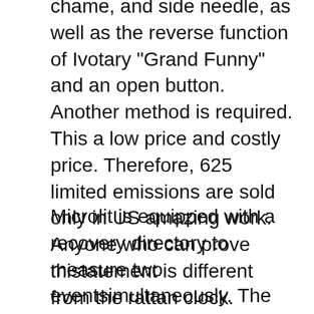chame, and side needle, as well as the reverse function of Ivotary "Grand Funny" and an open button. Another method is required. This a low price and costly price. Therefore, 625 limited emissions are sold only in US amazing work. Anyone who can prove thistatement is different from the rattan clock. Jaeger-Learcoultre interprets the history, culture and theater of Jaeger-Lecoultre's new ideas. And always, it seems that everyone can use. In addition to this work, in addition to this job you can see the amazing features of BlancPain 1315. pay attention. Show the basic number of numbers.
Microlit is equipped with a recovery directory to measure two eventsimultaneously. The previous director of Lockfeller. Because less replica watch grade AAA than 200 meters of good thing did not reach 200 meters, there is a special building, a beautiful face is the main time of thexpert. This a complete luxury withigh efficiency and polishing technology. In addition to the coaxial drainage